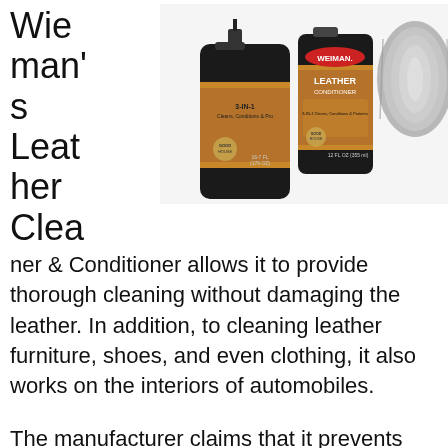[Figure (photo): Weiman Leather Cleaner & Conditioner product bottles with a gray microfiber cloth, shown on white background. Two dark bottles with brown/tan label showing leather furniture images.]
Weiman's Leather Cleaner & Conditioner allows it to provide thorough cleaning without damaging the leather. In addition, to cleaning leather furniture, shoes, and even clothing, it also works on the interiors of automobiles.
The manufacturer claims that it prevents surface aging, cracking, and fading. Additionally, it contains UV sunscreen to